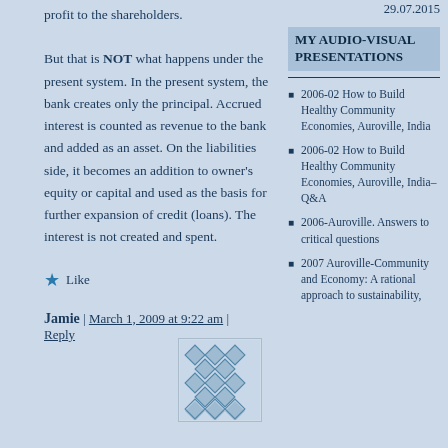profit to the shareholders.
But that is NOT what happens under the present system. In the present system, the bank creates only the principal. Accrued interest is counted as revenue to the bank and added as an asset. On the liabilities side, it becomes an addition to owner’s equity or capital and used as the basis for further expansion of credit (loans). The interest is not created and spent.
★ Like
Jamie | March 1, 2009 at 9:22 am | Reply
29.07.2015
MY AUDIO-VISUAL PRESENTATIONS
2006-02 How to Build Healthy Community Economies, Auroville, India
2006-02 How to Build Healthy Community Economies, Auroville, India–Q&A
2006-Auroville. Answers to critical questions
2007 Auroville-Community and Economy: A rational approach to sustainability,